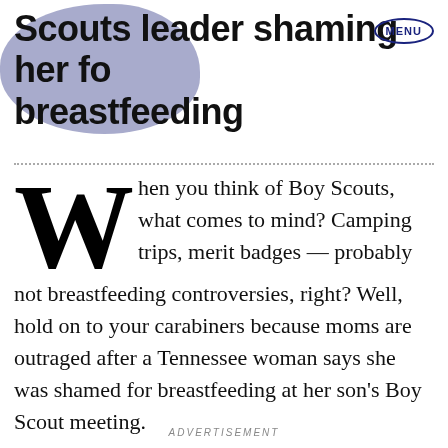Scouts leader shaming her for breastfeeding
When you think of Boy Scouts, what comes to mind? Camping trips, merit badges — probably not breastfeeding controversies, right? Well, hold on to your carabiners because moms are outraged after a Tennessee woman says she was shamed for breastfeeding at her son's Boy Scout meeting.
ADVERTISEMENT